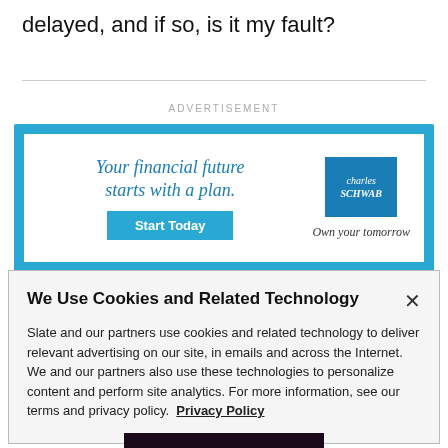delayed, and if so, is it my fault?
ADVERTISEMENT
[Figure (screenshot): Charles Schwab advertisement banner. Headline: 'Your financial future starts with a plan.' with a 'Start Today' button, and Charles Schwab logo with tagline 'Own your tomorrow']
We Use Cookies and Related Technology
Slate and our partners use cookies and related technology to deliver relevant advertising on our site, in emails and across the Internet. We and our partners also use these technologies to personalize content and perform site analytics. For more information, see our terms and privacy policy.  Privacy Policy
OK